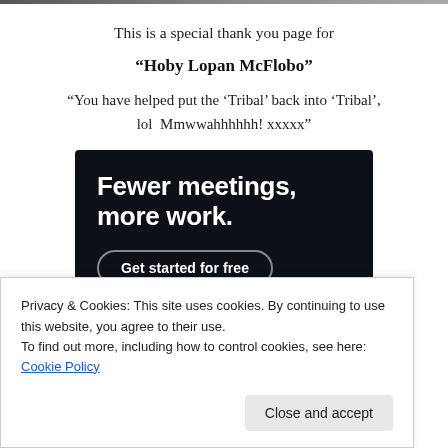This is a special thank you page for
“Hoby Lopan McFlobo”
“You have helped put the ‘Tribal’ back into ‘Tribal’, lol  Mmwwahhhhhh! xxxxx”
[Figure (screenshot): Dark advertisement banner with white bold text reading 'Fewer meetings, more work.' and a 'Get started for free' button with rounded border.]
Privacy & Cookies: This site uses cookies. By continuing to use this website, you agree to their use.
To find out more, including how to control cookies, see here: Cookie Policy